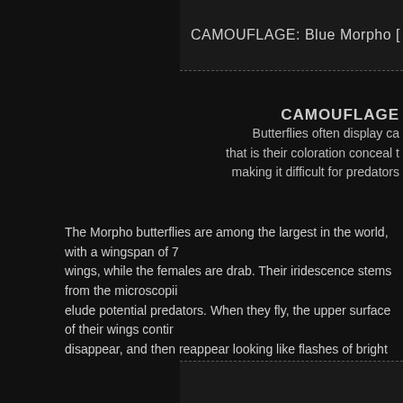CAMOUFLAGE: Blue Morpho [ Morpho melanu
CAMOUFLAGE
Butterflies often display ca that is their coloration conceal t making it difficult for predators
The Morpho butterflies are among the largest in the world, with a wingspan of 7 wings, while the females are drab. Their iridescence stems from the microscopically elude potential predators. When they fly, the upper surface of their wings continu disappear, and then reappear looking like flashes of bright blue light. Combined quickly makes them difficult for predators to pursue.